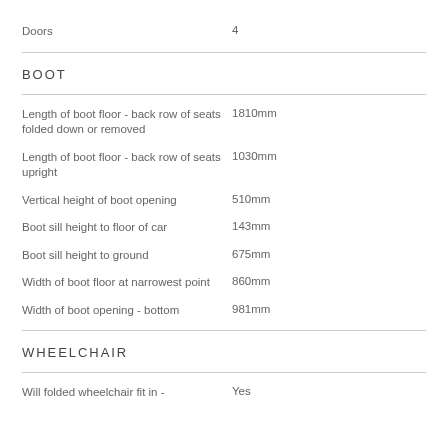Doors	4
BOOT
Length of boot floor - back row of seats folded down or removed	1810mm
Length of boot floor - back row of seats upright	1030mm
Vertical height of boot opening	510mm
Boot sill height to floor of car	143mm
Boot sill height to ground	675mm
Width of boot floor at narrowest point	860mm
Width of boot opening - bottom	981mm
WHEELCHAIR
Will folded wheelchair fit in -	Yes